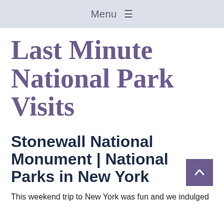Menu ≡
Last Minute National Park Visits
Stonewall National Monument | National Parks in New York
This weekend trip to New York was fun and we indulged